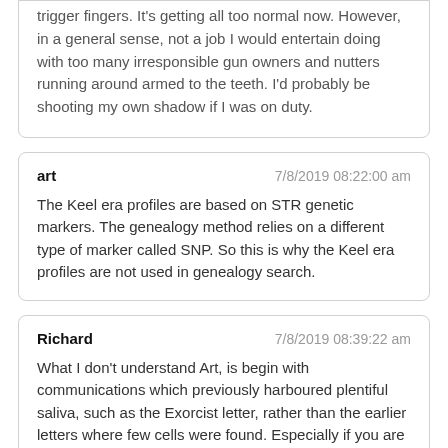trigger fingers. It's getting all too normal now. However, in a general sense, not a job I would entertain doing with too many irresponsible gun owners and nutters running around armed to the teeth. I'd probably be shooting my own shadow if I was on duty.
art  7/8/2019 08:22:00 am
The Keel era profiles are based on STR genetic markers. The genealogy method relies on a different type of marker called SNP. So this is why the Keel era profiles are not used in genealogy search.
Richard  7/8/2019 08:39:22 am
What I don't understand Art, is begin with communications which previously harboured plentiful saliva, such as the Exorcist letter, rather than the earlier letters where few cells were found. Especially if you are of the opinion the Exorcist letter is not from a commonly known characteristic this...